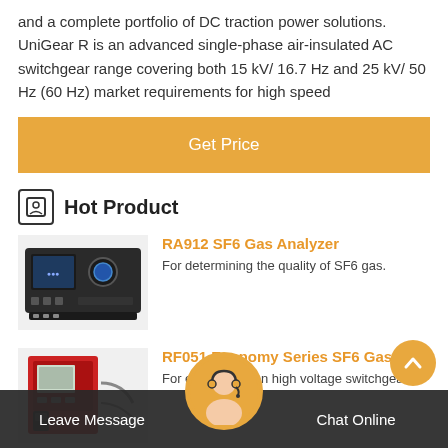and a complete portfolio of DC traction power solutions. UniGear R is an advanced single-phase air-insulated AC switchgear range covering both 15 kV/ 16.7 Hz and 25 kV/ 50 Hz (60 Hz) market requirements for high speed
Get Price
Hot Product
RA912 SF6 Gas Analyzer
For determining the quality of SF6 gas.
RF051 Economy Series SF6 Gas R…
For easy… nce on high voltage switchgear.
Leave Message   Chat Online